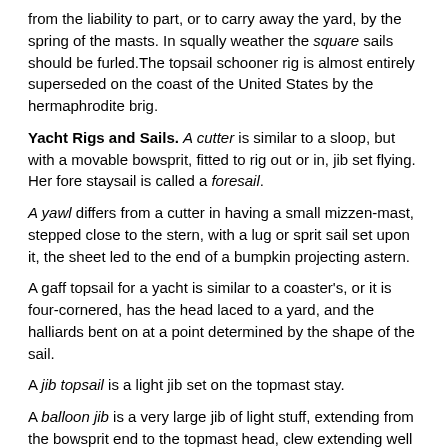from the liability to part, or to carry away the yard, by the spring of the masts. In squally weather the square sails should be furled. The topsail schooner rig is almost entirely superseded on the coast of the United States by the hermaphrodite brig.
Yacht Rigs and Sails. A cutter is similar to a sloop, but with a movable bowsprit, fitted to rig out or in, jib set flying. Her fore staysail is called a foresail.
A yawl differs from a cutter in having a small mizzen-mast, stepped close to the stern, with a lug or sprit sail set upon it, the sheet led to the end of a bumpkin projecting astern.
A gaff topsail for a yacht is similar to a coaster's, or it is four-cornered, has the head laced to a yard, and the halliards bent on at a point determined by the shape of the sail.
A jib topsail is a light jib set on the topmast stay.
A balloon jib is a very large jib of light stuff, extending from the bowsprit end to the topmast head, clew extending well aft.
A spinnaker is a light triangular sail, the foot of which is extended by a boom goosenecked to the mast, and rigged out on the side opposite to the main boom, the sail being set on the side opposite to the principal sail on the mast. The halliards lead through a block at